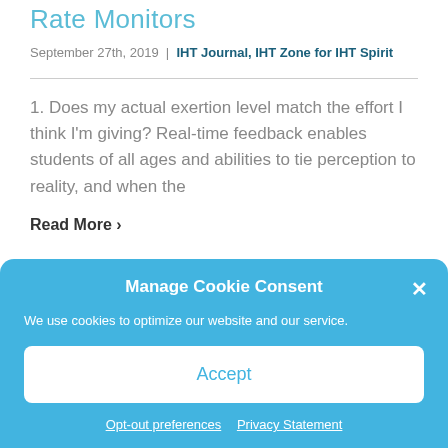Rate Monitors
September 27th, 2019 | IHT Journal, IHT Zone for IHT Spirit
1. Does my actual exertion level match the effort I think I'm giving? Real-time feedback enables students of all ages and abilities to tie perception to reality, and when the
Read More ›
Manage Cookie Consent
We use cookies to optimize our website and our service.
Accept
Opt-out preferences   Privacy Statement